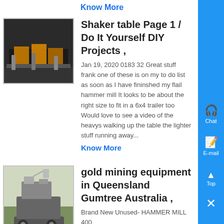Know More
Shaker table Page 1 / Do It Yourself DIY Projects ,
[Figure (photo): Photo of industrial shaker table equipment with orange machinery]
Jan 19, 2020 0183 32 Great stuff frank one of these is on my to do list as soon as I have fininshed my flail hammer mill It looks to be about the right size to fit in a 6x4 trailer too Would love to see a video of the heavys walking up the table the lighter stuff running away...
Know More
gold mining equipment in Queensland Gumtree Australia ,
[Figure (photo): Photo of large gold mining equipment/vehicle outdoors]
Brand New Unused- HAMMER MILL 400